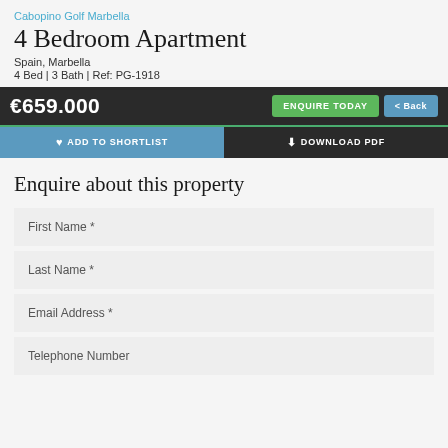Cabopino Golf Marbella
4 Bedroom Apartment
Spain, Marbella
4 Bed | 3 Bath | Ref: PG-1918
€659.000  ENQUIRE TODAY  < Back
♥ ADD TO SHORTLIST    ⬇ DOWNLOAD PDF
Enquire about this property
First Name *
Last Name *
Email Address *
Telephone Number